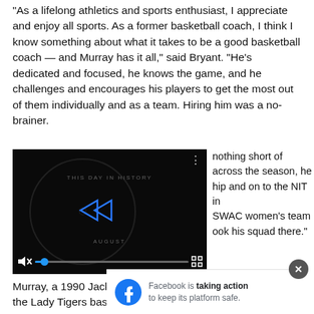“As a lifelong athletics and sports enthusiast, I appreciate and enjoy all sports. As a former basketball coach, I think I know something about what it takes to be a good basketball coach — and Murray has it all,” said Bryant. “He’s dedicated and focused, he knows the game, and he challenges and encourages his players to get the most out of them individually and as a team. Hiring him was a no-brainer.
[Figure (screenshot): A paused video player with dark background showing 'THIS DAY IN HISTORY' text and a play button. Controls visible at bottom including mute, progress bar, and fullscreen. Menu dots in upper right. Month label 'AUGUST' visible.]
nothing short of across the season, he hip and on to the NIT in SWAC women’s team ook his squad there.”
Murray, a 1990 Jackson State University graduate, joined the Lady Tigers basketball program as an assistant coach under then he… helped Domon…
[Figure (screenshot): Facebook advertisement banner reading 'Facebook is taking action to keep its platform safe.' with Facebook logo on left and close X button on right.]